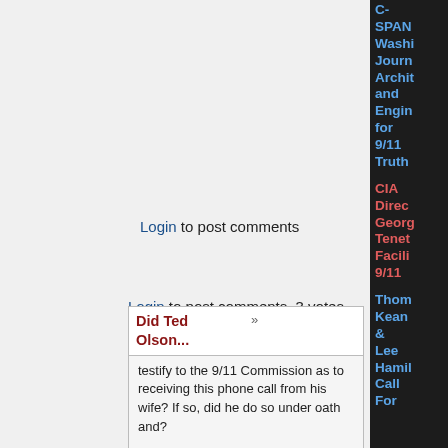Login to post comments
Login to post comments   3 votes
Did Ted Olson...
testify to the 9/11 Commission as to receiving this phone call from his wife? If so, did he do so under oath and?
I have not looked for this myself yet though I intend to do so. I would assume that Olson's testimony regarding contact with his wife, who was a passenger on one of the doomed flights, would have been highly desirable by the Commission.
From Thompson's Timeline (tiny url replaces the obnoxious one from above, i hope):
http://tinyurl.com/2z5ouy
"Ted Olson's recollection of the call's timing is extremely vague, saying it "must have been 9:15
C-SPAN Washington Journal Architects and Engineers for 9/11 Truth
CIA Director George Tenet Facilitating 9/11
Thomas Kean & Lee Hamilton Call For